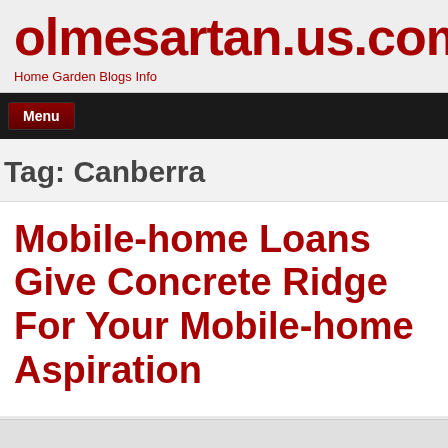olmesartan.us.com
Home Garden Blogs Info
Menu
Tag: Canberra
Mobile-home Loans Give Concrete Ridge For Your Mobile-home Aspiration